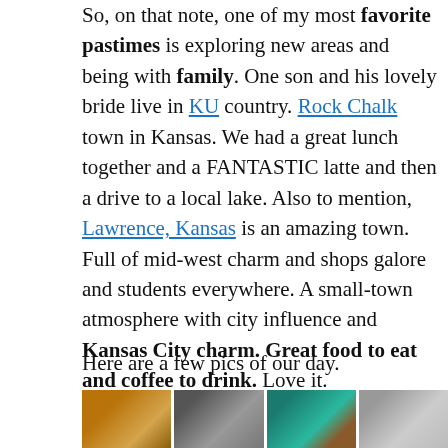So, on that note, one of my most favorite pastimes is exploring new areas and being with family. One son and his lovely bride live in KU country. Rock Chalk town in Kansas. We had a great lunch together and a FANTASTIC latte and then a drive to a local lake. Also to mention, Lawrence, Kansas is an amazing town. Full of mid-west charm and shops galore and students everywhere. A small-town atmosphere with city influence and Kansas City charm. Great food to eat and coffee to drink. Love it.
Here are a few pics of our day.
[Figure (photo): A strip of four photos showing scenes from a day in Lawrence, Kansas: a latte/coffee drink, a person at a table, a teal-colored jacket/scene, and an outdoor/building scene.]